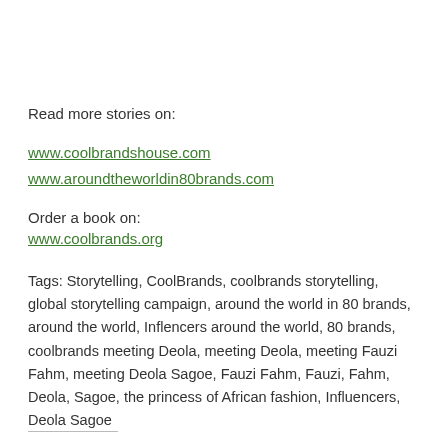Read more stories on:
www.coolbrandshouse.com
www.aroundtheworldin80brands.com
Order a book on:
www.coolbrands.org
Tags: Storytelling, CoolBrands, coolbrands storytelling, global storytelling campaign, around the world in 80 brands, around the world, Inflencers around the world, 80 brands, coolbrands meeting Deola, meeting Deola, meeting Fauzi Fahm, meeting Deola Sagoe, Fauzi Fahm, Fauzi, Fahm, Deola, Sagoe, the princess of African fashion, Influencers, Deola Sagoe